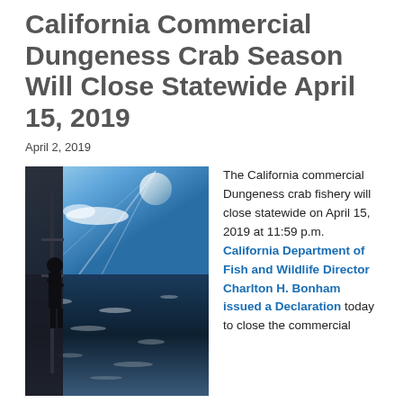California Commercial Dungeness Crab Season Will Close Statewide April 15, 2019
April 2, 2019
[Figure (photo): A fisherman on a boat deck silhouetted against a bright sky, with sunlight reflecting off ocean water in the background.]
The California commercial Dungeness crab fishery will close statewide on April 15, 2019 at 11:59 p.m. California Department of Fish and Wildlife Director Charlton H. Bonham issued a Declaration today to close the commercial